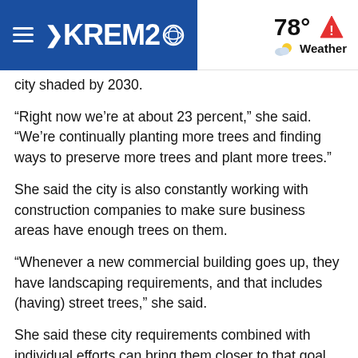KREM2 | 78° Weather
city shaded by 2030.
“Right now we’re at about 23 percent,” she said. “We’re continually planting more trees and finding ways to preserve more trees and plant more trees.”
She said the city is also constantly working with construction companies to make sure business areas have enough trees on them.
“Whenever a new commercial building goes up, they have landscaping requirements, and that includes (having) street trees,” she said.
She said these city requirements combined with individual efforts can bring them closer to that goal.
Pruning, watering and planting new trees are all suggestions she said will encourage tree growth in the spring.